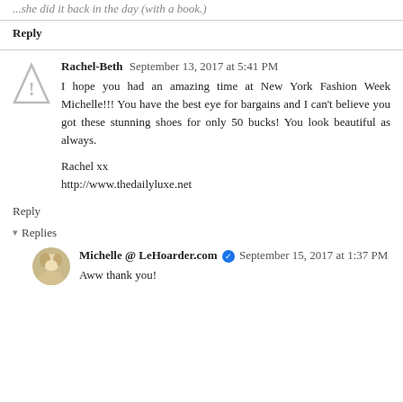...she did it back in the day (with a book.)
Reply
Rachel-Beth  September 13, 2017 at 5:41 PM
I hope you had an amazing time at New York Fashion Week Michelle!!! You have the best eye for bargains and I can't believe you got these stunning shoes for only 50 bucks! You look beautiful as always.
Rachel xx
http://www.thedailyluxe.net
Reply
Replies
Michelle @ LeHoarder.com  September 15, 2017 at 1:37 PM
Aww thank you!